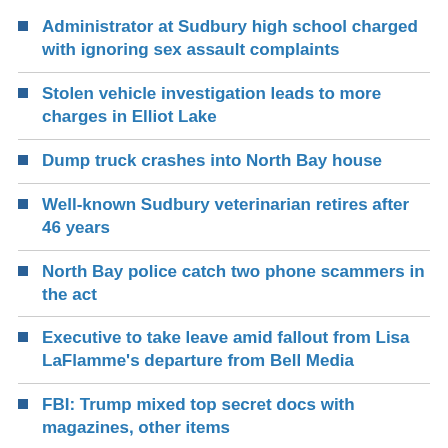Administrator at Sudbury high school charged with ignoring sex assault complaints
Stolen vehicle investigation leads to more charges in Elliot Lake
Dump truck crashes into North Bay house
Well-known Sudbury veterinarian retires after 46 years
North Bay police catch two phone scammers in the act
Executive to take leave amid fallout from Lisa LaFlamme's departure from Bell Media
FBI: Trump mixed top secret docs with magazines, other items